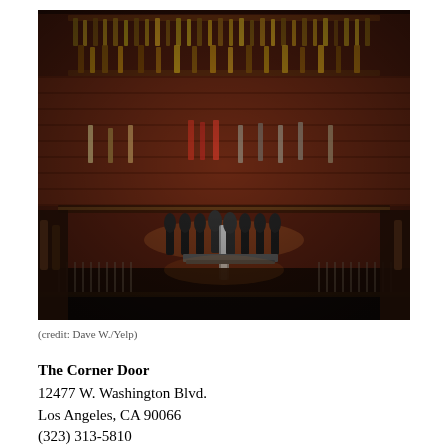[Figure (photo): Interior of a bar showing shelves stocked with liquor bottles against a brick wall, beer tap handles in the center foreground, and glasses arranged on the bar counter.]
(credit: Dave W./Yelp)
The Corner Door
12477 W. Washington Blvd.
Los Angeles, CA 90066
(323) 313-5810